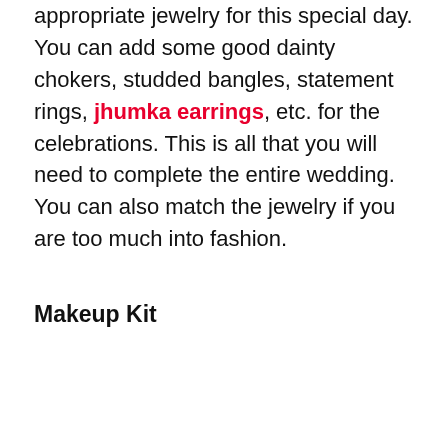appropriate jewelry for this special day. You can add some good dainty chokers, studded bangles, statement rings, jhumka earrings, etc. for the celebrations. This is all that you will need to complete the entire wedding. You can also match the jewelry if you are too much into fashion.
Makeup Kit